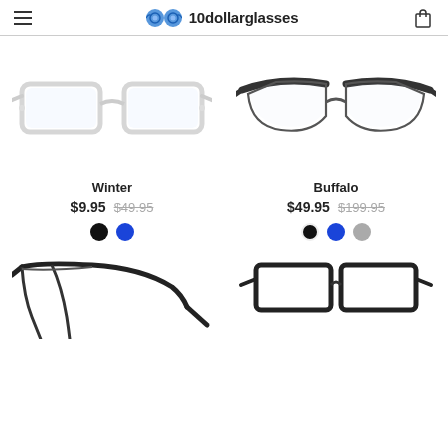10dollarglasses
[Figure (photo): Clear rectangular eyeglasses frame - Winter model]
Winter
$9.95  $49.95
[Figure (photo): Dark metal browline eyeglasses - Buffalo model]
Buffalo
$49.95  $199.95
[Figure (photo): Partial bottom view of dark eyeglasses frame (left)]
[Figure (photo): Partial bottom view of dark eyeglasses frame (right)]